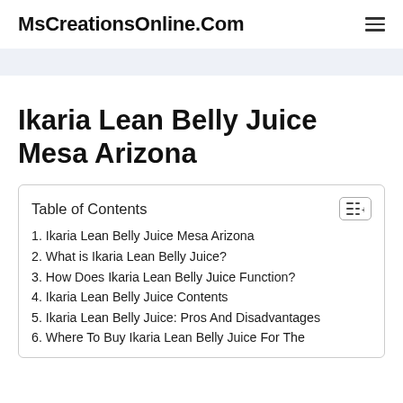MsCreationsOnline.Com
Ikaria Lean Belly Juice Mesa Arizona
| Table of Contents |
| --- |
| 1. Ikaria Lean Belly Juice Mesa Arizona |
| 2. What is Ikaria Lean Belly Juice? |
| 3. How Does Ikaria Lean Belly Juice Function? |
| 4. Ikaria Lean Belly Juice Contents |
| 5. Ikaria Lean Belly Juice: Pros And Disadvantages |
| 6. Where To Buy Ikaria Lean Belly Juice For The |